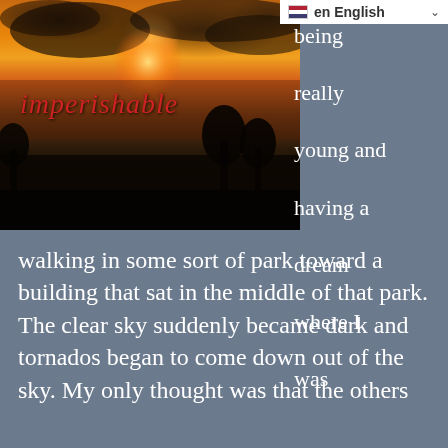[Figure (illustration): Book cover image showing a sunset/dramatic sky with dark clouds and silhouetted trees/landscape. The word 'imperishable' is written in red italic cursive text across the middle of the image.]
[Figure (screenshot): Language selector bar showing flag icon, 'en English' text and dropdown arrow, set against white background]
being really young and having a dream where I was
walking in some sort of park toward a building that sat in the middle of that park. The clear sky suddenly became dark and tornados began to come down out of the sky. My only thought was that the others